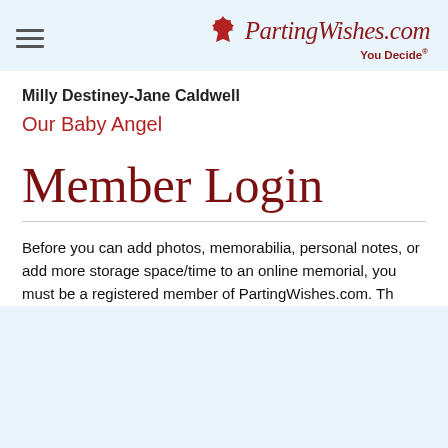PartingWishes.com — You Decide®
Milly Destiney-Jane Caldwell
Our Baby Angel
Member Login
Before you can add photos, memorabilia, personal notes, or add more storage space/time to an online memorial, you must be a registered member of PartingWishes.com. This